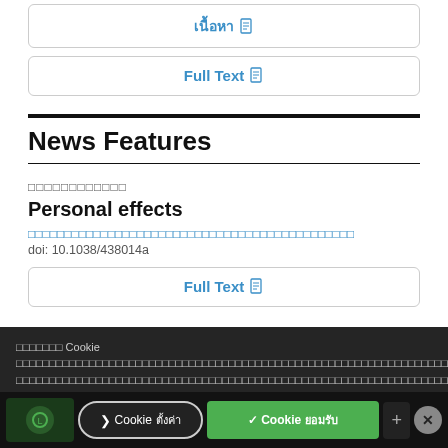เนื้อหา (Full Text button)
Full Text
News Features
ประเภทเนื้อหา
Personal effects
ผู้เขียน (Thai author names)
doi: 10.1038/438014a
Full Text
Cookie consent overlay text in Thai
Cookie ตั้งค่า
✓ Cookie ยอมรับ